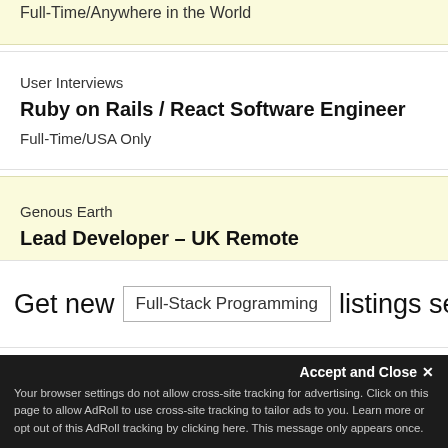Full-Time/Anywhere in the World
User Interviews
Ruby on Rails / React Software Engineer
Full-Time/USA Only
Genous Earth
Lead Developer – UK Remote
Full-Time/UK Only
Get new  Full-Stack Programming  listings sen
Accept and Close ✕
Your browser settings do not allow cross-site tracking for advertising. Click on this page to allow AdRoll to use cross-site tracking to tailor ads to you. Learn more or opt out of this AdRoll tracking by clicking here. This message only appears once.